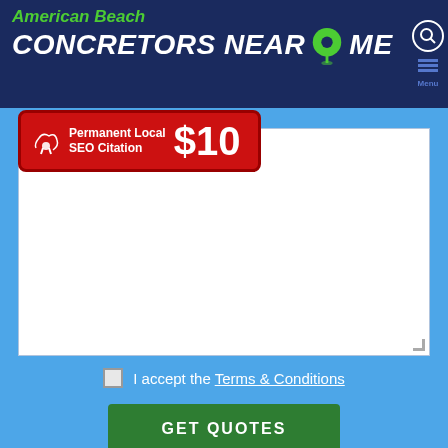American Beach CONCRETORS NEAR ME
[Figure (screenshot): Red banner ad: Permanent Local SEO Citation $10]
I accept the Terms & Conditions
GET QUOTES
Sign up for our newsletter
Enter Your Email
Popular Locations
Adelaide